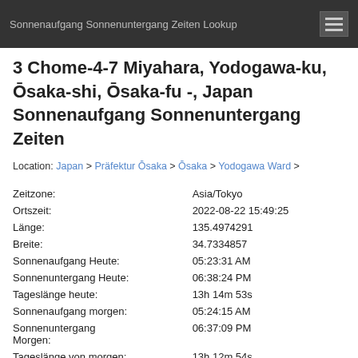Sonnenaufgang Sonnenuntergang Zeiten Lookup
3 Chome-4-7 Miyahara, Yodogawa-ku, Ōsaka-shi, Ōsaka-fu -, Japan Sonnenaufgang Sonnenuntergang Zeiten
Location: Japan > Präfektur Ōsaka > Ōsaka > Yodogawa Ward >
| Label | Value |
| --- | --- |
| Zeitzone: | Asia/Tokyo |
| Ortszeit: | 2022-08-22 15:49:25 |
| Länge: | 135.4974291 |
| Breite: | 34.7334857 |
| Sonnenaufgang Heute: | 05:23:31 AM |
| Sonnenuntergang Heute: | 06:38:24 PM |
| Tageslänge heute: | 13h 14m 53s |
| Sonnenaufgang morgen: | 05:24:15 AM |
| Sonnenuntergang Morgen: | 06:37:09 PM |
| Tageslänge von morgen: | 13h 12m 54s |